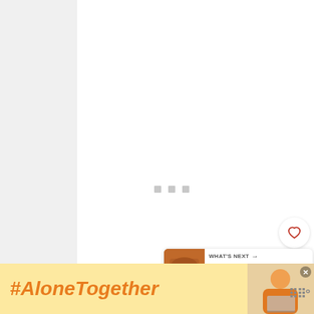[Figure (screenshot): Loading spinner dots (three gray squares) in center of white card area]
[Figure (infographic): Social sidebar with heart button (white circle, heart icon) and share pill (dark red/brown, showing count 40 and share icon)]
[Figure (screenshot): What's Next banner showing food image thumbnail and text 'WHAT'S NEXT → Grilled Flank Steak Pobla...']
A little taste before the months of goodness ahead.
[Figure (infographic): Advertisement banner with yellow background showing '#AloneTogether' in orange italic bold text, a photo of a person, a close button, and a brand logo 'w°']